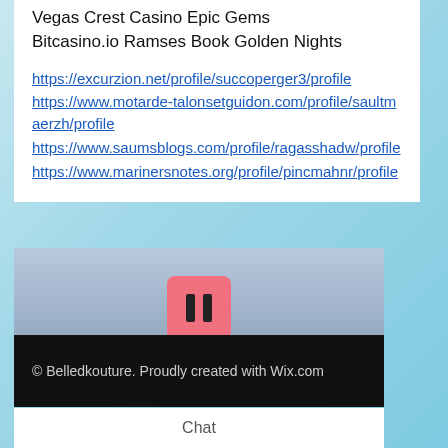Vegas Crest Casino Epic Gems
Bitcasino.io Ramses Book Golden Nights
https://excurzion.net/profile/succoperger3/profile
https://www.motarde-talonsetguidon.com/profile/saultmaerzh/profile
https://www.saumsblogs.com/profile/ragasshadw/profile
https://www.marinersnotes.org/profile/pincmahnr/profile
[Figure (other): Pause button (pink/salmon rounded square with two vertical bars) over a blue-grey gradient media area]
© Belledkouture. Proudly created with Wix.com
Chat